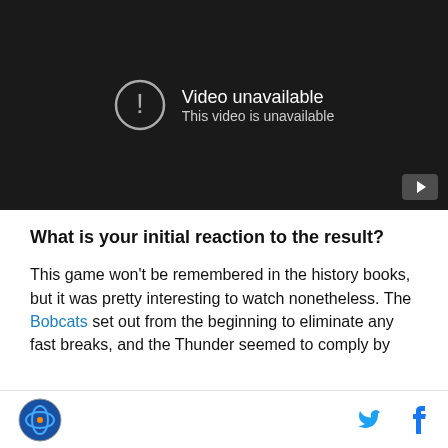[Figure (screenshot): Embedded video player showing 'Video unavailable. This video is unavailable.' message on a dark background with a YouTube play button in the bottom right corner.]
What is your initial reaction to the result?
This game won't be remembered in the history books, but it was pretty interesting to watch nonetheless. The Bobcats set out from the beginning to eliminate any fast breaks, and the Thunder seemed to comply by
Logo | Twitter | Facebook